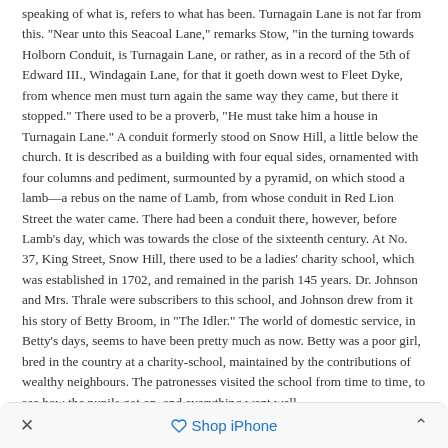speaking of what is, refers to what has been. Turnagain Lane is not far from this. "Near unto this Seacoal Lane," remarks Stow, "in the turning towards Holborn Conduit, is Turnagain Lane, or rather, as in a record of the 5th of Edward III., Windagain Lane, for that it goeth down west to Fleet Dyke, from whence men must turn again the same way they came, but there it stopped." There used to be a proverb, "He must take him a house in Turnagain Lane." A conduit formerly stood on Snow Hill, a little below the church. It is described as a building with four equal sides, ornamented with four columns and pediment, surmounted by a pyramid, on which stood a lamb—a rebus on the name of Lamb, from whose conduit in Red Lion Street the water came. There had been a conduit there, however, before Lamb's day, which was towards the close of the sixteenth century. At No. 37, King Street, Snow Hill, there used to be a ladies' charity school, which was established in 1702, and remained in the parish 145 years. Dr. Johnson and Mrs. Thrale were subscribers to this school, and Johnson drew from it his story of Betty Broom, in "The Idler." The world of domestic service, in Betty's days, seems to have been pretty much as now. Betty was a poor girl, bred in the country at a charity-school, maintained by the contributions of wealthy neighbours. The patronesses visited the school from time to time, to see how the pupils got on, and everything went well,
Shop iPhone